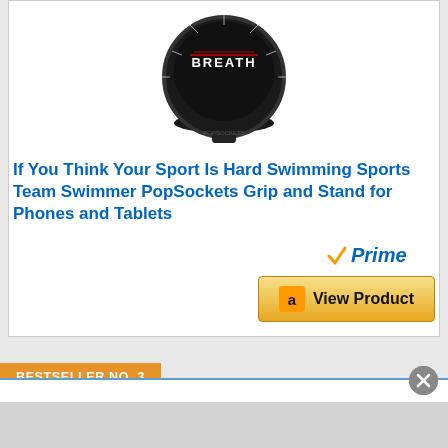[Figure (photo): PopSockets Grip product image - black circular popsocket with 'BREATH' text on dark background]
If You Think Your Sport Is Hard Swimming Sports Team Swimmer PopSockets Grip and Stand for Phones and Tablets
[Figure (logo): Amazon Prime logo with orange checkmark and blue italic 'Prime' text]
[Figure (other): Amazon 'View Product' button with Amazon logo]
BESTSELLER NO. 3
[Figure (screenshot): White overlay popup panel partially visible]
[Figure (other): Close button (X) circle overlay]